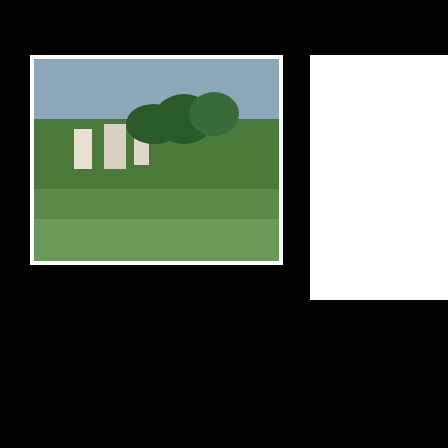[Figure (photo): Green field with buildings and trees under overcast sky]
[Figure (photo): White/blank panel]
[Figure (photo): Road with highway perspective, mountain in background, blue sky]
[Figure (photo): Dry rocky landscape with blue sky and clouds]
[Figure (photo): White/blank panel]
[Figure (photo): Rocky hillside with sparse vegetation]
[Figure (photo): Road through tunnel or underpass with landscape visible]
[Figure (photo): Dense cacti forest on hillside with blue sky]
[Figure (photo): White/blank panel]
[Figure (photo): Mountain range under cloudy sky]
[Figure (photo): White/blank panel (partial, right edge)]